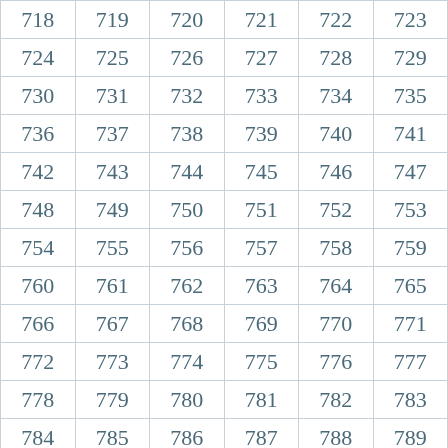| 718 | 719 | 720 | 721 | 722 | 723 |
| 724 | 725 | 726 | 727 | 728 | 729 |
| 730 | 731 | 732 | 733 | 734 | 735 |
| 736 | 737 | 738 | 739 | 740 | 741 |
| 742 | 743 | 744 | 745 | 746 | 747 |
| 748 | 749 | 750 | 751 | 752 | 753 |
| 754 | 755 | 756 | 757 | 758 | 759 |
| 760 | 761 | 762 | 763 | 764 | 765 |
| 766 | 767 | 768 | 769 | 770 | 771 |
| 772 | 773 | 774 | 775 | 776 | 777 |
| 778 | 779 | 780 | 781 | 782 | 783 |
| 784 | 785 | 786 | 787 | 788 | 789 |